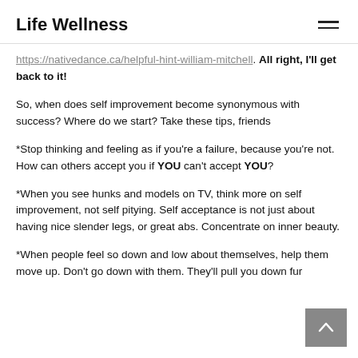Life Wellness
https://nativedance.ca/helpful-hint-william-mitchell. All right, I'll get back to it!
So, when does self improvement become synonymous with success? Where do we start? Take these tips, friends
*Stop thinking and feeling as if you're a failure, because you're not. How can others accept you if YOU can't accept YOU?
*When you see hunks and models on TV, think more on self improvement, not self pitying. Self acceptance is not just about having nice slender legs, or great abs. Concentrate on inner beauty.
*When people feel so down and low about themselves, help them move up. Don't go down with them. They'll pull you down further and then you'll start feeling inferior.